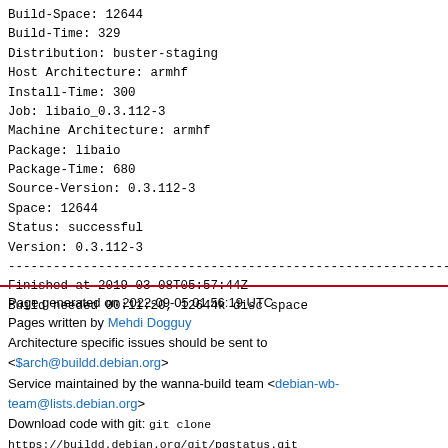Build-Space: 12644
Build-Time: 329
Distribution: buster-staging
Host Architecture: armhf
Install-Time: 300
Job: libaio_0.3.112-3
Machine Architecture: armhf
Package: libaio
Package-Time: 680
Source-Version: 0.3.112-3
Space: 12644
Status: successful
Version: 0.3.112-3
-------------------------------------------------------------
Finished at 2019-03-08T05:57:44Z
Build needed 00:11:20, 12644k disc space
Page generated on 2022-09-05 01:56:19 UTC
Pages written by Mehdi Dogguy
Architecture specific issues should be sent to <$arch@buildd.debian.org>
Service maintained by the wanna-build team <debian-wb-team@lists.debian.org>
Download code with git: git clone
https://buildd.debian.org/git/pgstatus.git